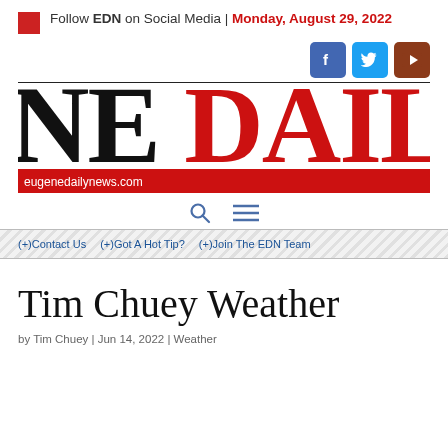Follow EDN on Social Media | Monday, August 29, 2022
[Figure (other): Social media icons: Facebook (blue), Twitter (light blue), YouTube (brown/red)]
[Figure (other): Eugene Daily News masthead logo showing 'NE DAILY N' in large black and red serif font, partially cropped]
eugenedailynews.com
[Figure (other): Navigation icons: search (magnifying glass) and hamburger menu]
(+)Contact Us  (+)Got A Hot Tip?  (+)Join The EDN Team
Tim Chuey Weather
by Tim Chuey | Jun 14, 2022 | Weather